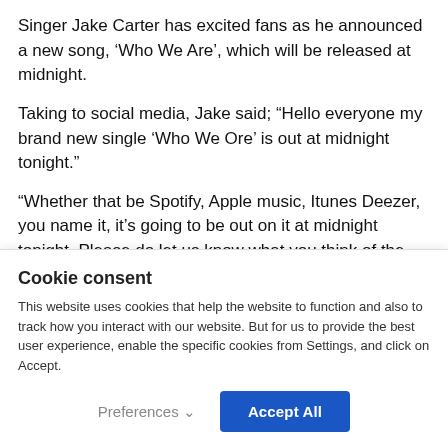Singer Jake Carter has excited fans as he announced a new song, ‘Who We Are’, which will be released at midnight.
Taking to social media, Jake said; “Hello everyone my brand new single ‘Who We Ore’ is out at midnight tonight.”
“Whether that be Spotify, Apple music, Itunes Deezer, you name it, it’s going to be out on it at midnight tonight. Please do let us know what you think of the
Cookie consent
This website uses cookies that help the website to function and also to track how you interact with our website. But for us to provide the best user experience, enable the specific cookies from Settings, and click on Accept.
Preferences ∨
Accept All